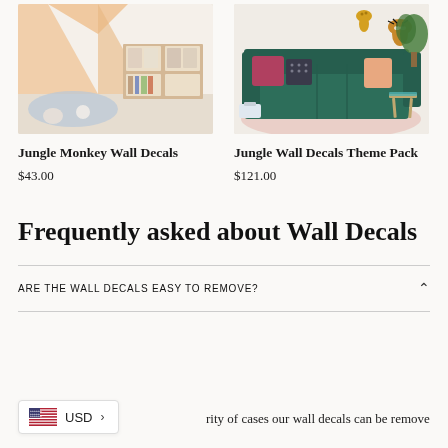[Figure (photo): Children's room with a beige canopy tent and wooden shelving unit with storage bins and books]
[Figure (photo): Living room with a dark green velvet sofa, colorful pillows, a pink rug, and jungle animal wall decals of a tiger and leopard on the wall]
Jungle Monkey Wall Decals
$43.00
Jungle Wall Decals Theme Pack
$121.00
Frequently asked about Wall Decals
ARE THE WALL DECALS EASY TO REMOVE?
rity of cases our wall decals can be removed